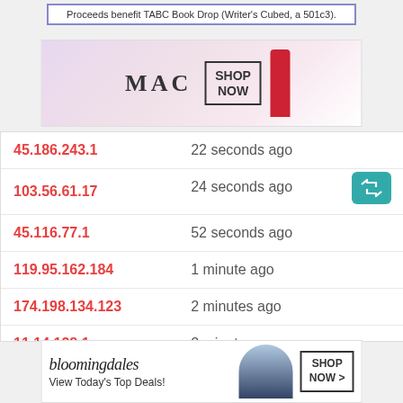[Figure (screenshot): Top banner: Proceeds benefit TABC Book Drop (Writer's Cubed, a 501c3).]
[Figure (photo): MAC cosmetics advertisement banner with lipsticks and SHOP NOW button]
| IP Address | Time |
| --- | --- |
| 45.186.243.1 | 22 seconds ago |
| 103.56.61.17 | 24 seconds ago |
| 45.116.77.1 | 52 seconds ago |
| 119.95.162.184 | 1 minute ago |
| 174.198.134.123 | 2 minutes ago |
| 11.14.128.1 | 2 minutes ago |
| 54.86.27.125 | 3 minutes ago |
| 41.75.189.238 | 4 minutes ago CLOSE |
| 110.5... |  |
[Figure (screenshot): Bloomingdale's advertisement: View Today's Top Deals! SHOP NOW >]